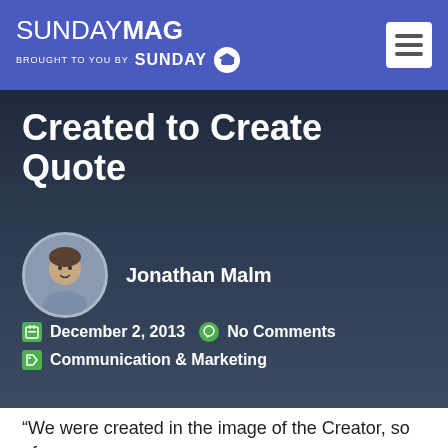SUNDAYMAG — BROUGHT TO YOU BY SUNDAY U
Created to Create Quote
Jonathan Malm
December 2, 2013   No Comments
Communication & Marketing
“We were created in the image of the Creator, so of